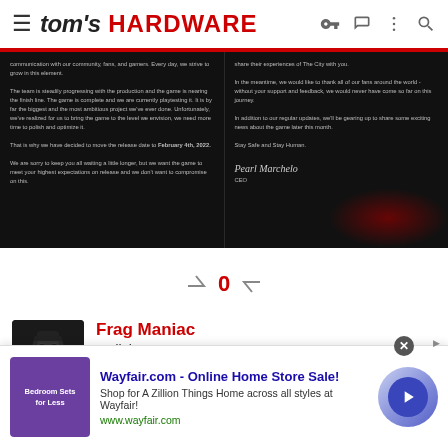tom's HARDWARE
[Figure (screenshot): Dark background announcement image with two-column text layout showing a game delay announcement letter signed by CEO, with a red rose visible in the bottom right]
[Figure (other): Vote up/down arrows with count 0 in red]
[Figure (photo): User avatar photo of Frag Maniac - person wearing hat and sunglasses]
Frag Maniac
Judicious
Oct 6, 2012  5,416  205  33,640
[Figure (other): Advertisement banner: Wayfair.com - Online Home Store Sale! Shop for A Zillion Things Home across all styles at Wayfair! www.wayfair.com]